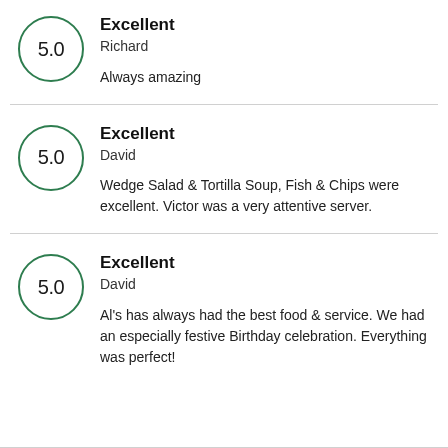5.0 Excellent
Richard
Always amazing
5.0 Excellent
David
Wedge Salad & Tortilla Soup, Fish & Chips were excellent. Victor was a very attentive server.
5.0 Excellent
David
Al's has always had the best food & service. We had an especially festive Birthday celebration. Everything was perfect!